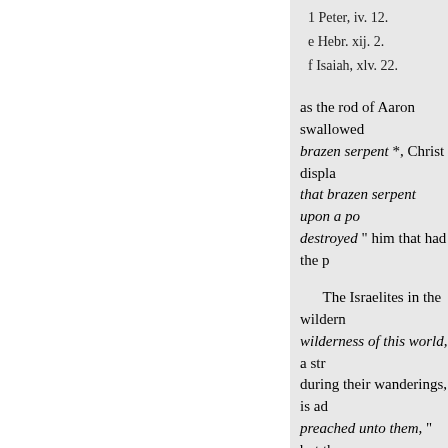1 Peter, iv. 12.
e Hebr. xij. 2.
f Isaiah, xlv. 22.
as the rod of Aaron swallowed brazen serpent *, Christ displ that brazen serpent upon a po destroyed " him that had the p
The Israelites in the wildern wilderness of this world, a str during their wanderings, is ad preached unto them, " but the them that heard
" Now these things were ou evil things, as they also lusted
it?."
8 Exod. vii. 12.
* This " brazen serpent" was pieces, because the people did it represented. Thus the brazen after its destruction, Christ